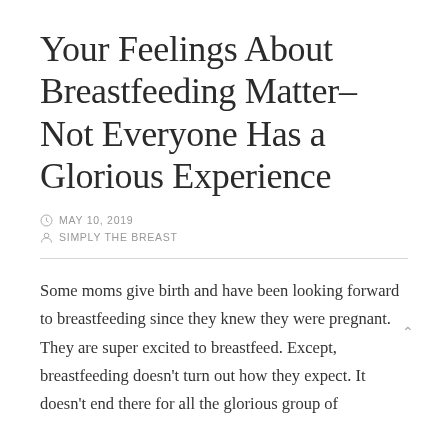Your Feelings About Breastfeeding Matter–Not Everyone Has a Glorious Experience
MAY 10, 2019
SIMPLY THE BREAST
Some moms give birth and have been looking forward to breastfeeding since they knew they were pregnant.  They are super excited to breastfeed.  Except, breastfeeding doesn't turn out how they expect.  It doesn't end there for all the glorious group of